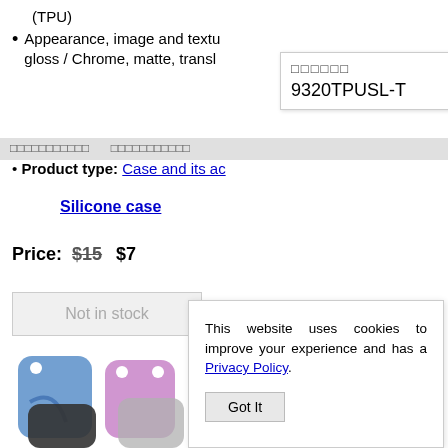(TPU)
Appearance, image and textu... gloss / Chrome, matte, transl...
[Figure (screenshot): Tooltip popup showing Japanese characters and product code 9320TPUSL-T]
Product type: Case and its ac...
Silicone case
Price: $15 $7
Not in stock
[Figure (photo): Photo of multiple silicone phone cases in blue, pink, purple, grey, and black colors]
This website uses cookies to improve your experience and has a Privacy Policy.
Got It